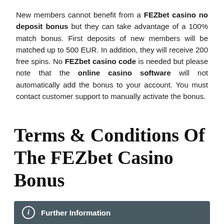New members cannot benefit from a FEZbet casino no deposit bonus but they can take advantage of a 100% match bonus. First deposits of new members will be matched up to 500 EUR. In addition, they will receive 200 free spins. No FEZbet casino code is needed but please note that the online casino software will not automatically add the bonus to your account. You must contact customer support to manually activate the bonus.
Terms & Conditions Of The FEZbet Casino Bonus
Further Information